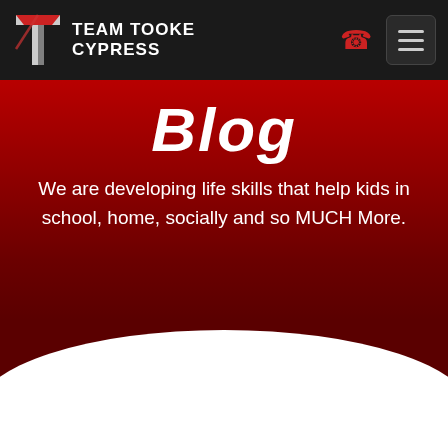Team Tooke Cypress
Blog
We are developing life skills that help kids in school, home, socially and so MUCH More.